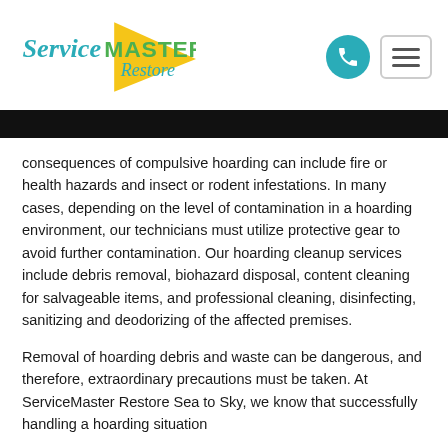[Figure (logo): ServiceMaster Restore logo with yellow triangle and teal/green text]
consequences of compulsive hoarding can include fire or health hazards and insect or rodent infestations. In many cases, depending on the level of contamination in a hoarding environment, our technicians must utilize protective gear to avoid further contamination. Our hoarding cleanup services include debris removal, biohazard disposal, content cleaning for salvageable items, and professional cleaning, disinfecting, sanitizing and deodorizing of the affected premises.
Removal of hoarding debris and waste can be dangerous, and therefore, extraordinary precautions must be taken. At ServiceMaster Restore Sea to Sky, we know that successfully handling a hoarding situation